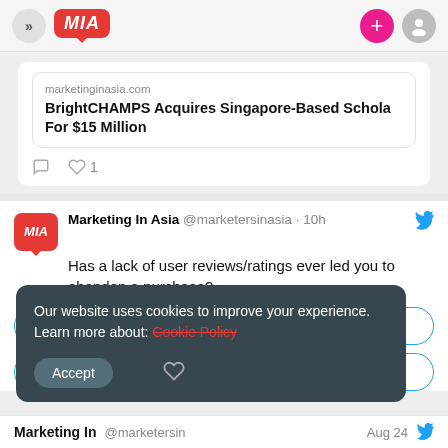Marketing In Asia (MIA) - navigation header
marketinginasia.com
BrightCHAMPS Acquires Singapore-Based Schola For $15 Million
Marketing In Asia @marketersinasia · 10h
Has a lack of user reviews/ratings ever led you to abandon a purchase?
Yes
No
Our website uses cookies to improve your experience. Learn more about: Cookie Policy
Accept
Marketing In @marketersin Aug 24